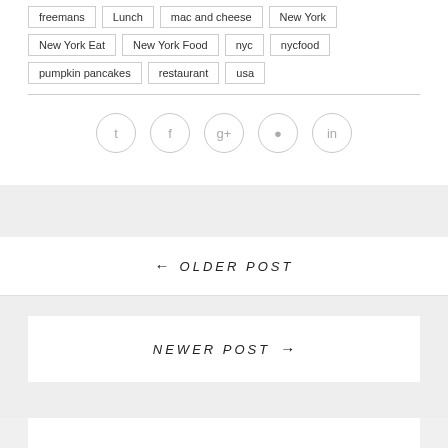freemans
Lunch
mac and cheese
New York
New York Eat
New York Food
nyc
nycfood
pumpkin pancakes
restaurant
usa
[Figure (infographic): Social sharing icons: Twitter, Facebook, Google+, Pinterest, LinkedIn — shown as circular outlined buttons with light gray borders and gray icons]
← OLDER POST
NEWER POST →